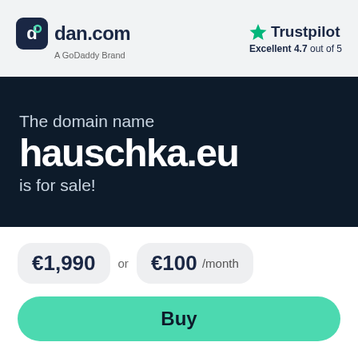[Figure (logo): dan.com logo with dark rounded square icon containing a stylized 'd' symbol, followed by text 'dan.com' and subtitle 'A GoDoddy Brand']
[Figure (logo): Trustpilot logo with green star icon and text 'Trustpilot', subtitle 'Excellent 4.7 out of 5']
The domain name hauschka.eu is for sale!
€1,990 or €100 /month
Buy